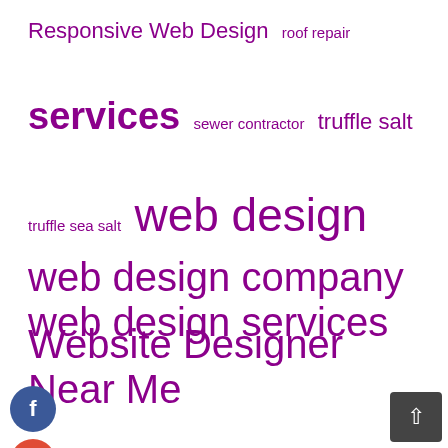Responsive Web Design  roof repair
services  sewer contractor  truffle salt
truffle sea salt  web design
web design company  web design services
Website Designer Near Me
[Figure (illustration): Social media icon buttons: Facebook (dark blue circle with f), Google+ (red circle with g+), Twitter (blue circle with bird), Plus/share (dark blue circle with +)]
Author Bio
Hi I am Lincoln Chan a business analyst and part time blogger. I am crazy about gathering latest information around the world. I have started this blog to share my